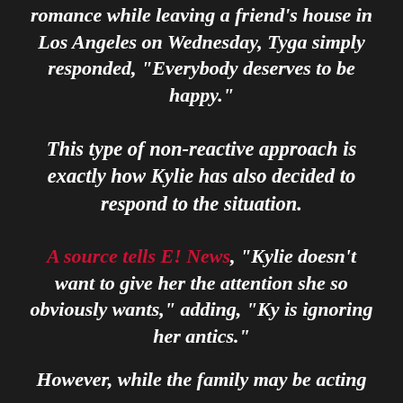romance while leaving a friend's house in Los Angeles on Wednesday, Tyga simply responded, "Everybody deserves to be happy."
This type of non-reactive approach is exactly how Kylie has also decided to respond to the situation.
A source tells E! News, "Kylie doesn't want to give her the attention she so obviously wants," adding, "Ky is ignoring her antics."
However, while the family may be acting